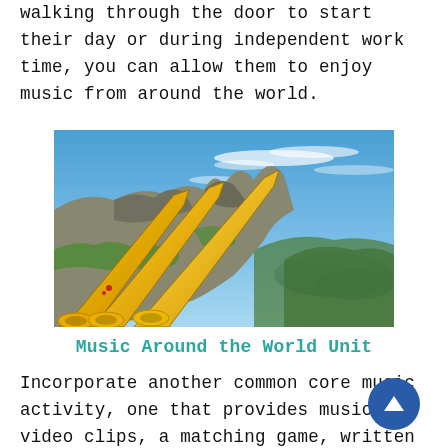walking through the door to start their day or during independent work time, you can allow them to enjoy music from around the world.
[Figure (photo): Three yellow alphorns (long wooden Swiss horns) resting on a rocky mountain slope with a panoramic aerial view of a lake and green valley below under a blue sky.]
Music Around the World Unit
Incorporate another common core music activity, one that provides musical video clips, a matching game, written recall pages, and information about various countries and their musical instruments.